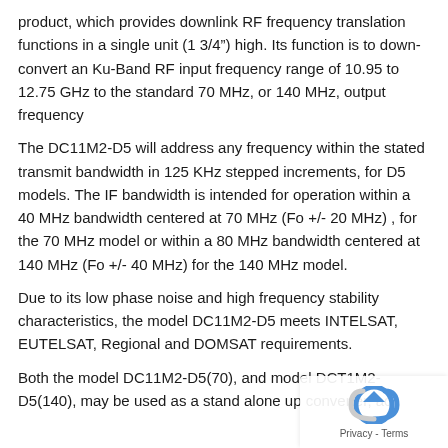product, which provides downlink RF frequency translation functions in a single unit (1 3/4") high. Its function is to down-convert an Ku-Band RF input frequency range of 10.95 to 12.75 GHz to the standard 70 MHz, or 140 MHz, output frequency
The DC11M2-D5 will address any frequency within the stated transmit bandwidth in 125 KHz stepped increments, for D5 models. The IF bandwidth is intended for operation within a 40 MHz bandwidth centered at 70 MHz (Fo +/- 20 MHz) , for the 70 MHz model or within a 80 MHz bandwidth centered at 140 MHz (Fo +/- 40 MHz) for the 140 MHz model.
Due to its low phase noise and high frequency stability characteristics, the model DC11M2-D5 meets INTELSAT, EUTELSAT, Regional and DOMSAT requirements.
Both the model DC11M2-D5(70), and model DCT1M2-D5(140), may be used as a stand alone up converter, ac